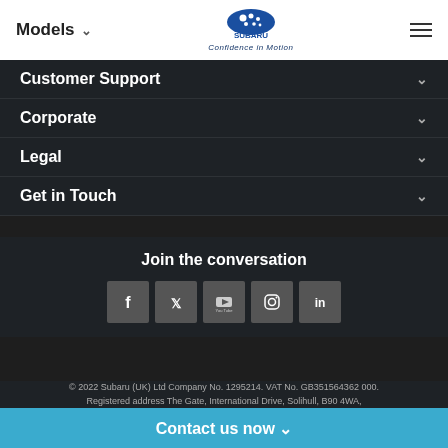Models | Subaru — Confidence in Motion
Customer Support
Corporate
Legal
Get in Touch
Join the conversation
[Figure (other): Social media icons: Facebook, Twitter, YouTube, Instagram, LinkedIn]
© 2022 Subaru (UK) Ltd Company No. 1295214. VAT No. GB351564362 000. Registered address The Gate, International Drive, Solihull, B90 4WA,
Contact us now